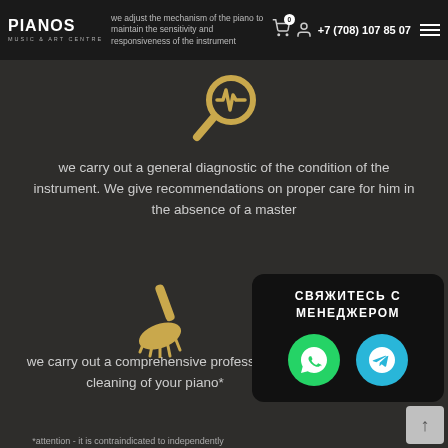PIANOS MUSIC & ART CENTRE — we adjust the mechanism of the piano to maintain the sensitivity and responsiveness of the instrument — +7 (708) 107 85 07
[Figure (illustration): Gold magnifying glass with heartbeat/diagnostic icon inside, on dark background]
we carry out a general diagnostic of the condition of the instrument. We give recommendations on proper care for him in the absence of a master
[Figure (illustration): Gold broom/brush cleaning icon on dark background]
we carry out a comprehensive professional cleaning of your piano*
[Figure (infographic): Contact popup overlay: СВЯЖИТЕСЬ С МЕНЕДЖЕРОМ with WhatsApp (green) and Telegram (blue) buttons]
*attention - it is contraindicated to independently